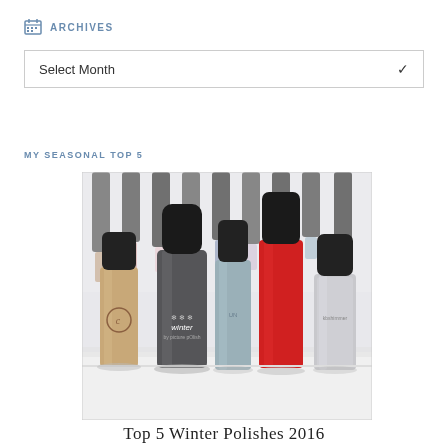ARCHIVES
Select Month
MY SEASONAL TOP 5
[Figure (photo): Multiple nail polish bottles of various colors arranged together, with five featured bottles in the foreground including copper, dark grey/glitter, light blue, red, and silver glitter polishes. The dark grey bottle reads 'winter by picture polish'.]
Top 5 Winter Polishes 2016